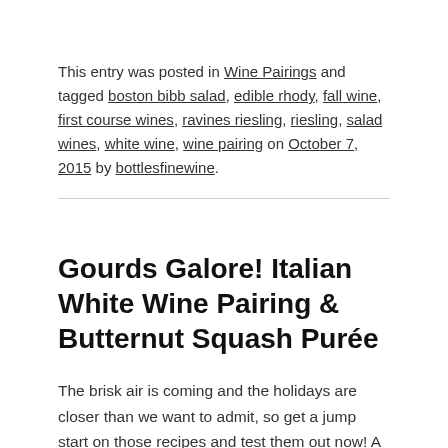This entry was posted in Wine Pairings and tagged boston bibb salad, edible rhody, fall wine, first course wines, ravines riesling, riesling, salad wines, white wine, wine pairing on October 7, 2015 by bottlesfinewine.
Gourds Galore! Italian White Wine Pairing & Butternut Squash Purée
The brisk air is coming and the holidays are closer than we want to admit, so get a jump start on those recipes and test them out now! A great side dish and accompaniment especially to Thanksgiving is Puréed Butternut Squash with Sage and Parmesan. Especially since winter squash is best from October to November.